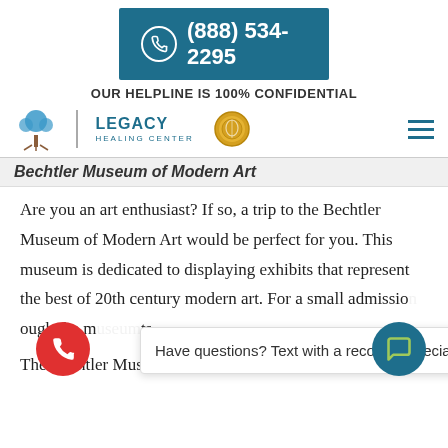[Figure (screenshot): Teal phone button with phone icon and number (888) 534-2295 on green background]
OUR HELPLINE IS 100% CONFIDENTIAL
[Figure (logo): Legacy Healing Center logo with tree icon, divider, LEGACY HEALING CENTER text, and gold seal badge]
Bechtler Museum of Modern Art
Are you an art enthusiast? If so, a trip to the Bechtler Museum of Modern Art would be perfect for you. This museum is dedicated to displaying exhibits that represent the best of 20th century modern art. For a small admission…rough the m…its. The Bechtler Museum of Modern Art is open from
[Figure (screenshot): Chat popup overlay: 'Have questions? Text with a recovery specialist.' with close button, red phone FAB, and teal chat FAB]